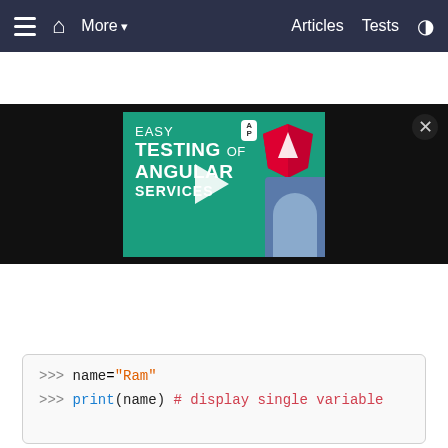≡  🏠  More ▾  Articles  Tests  ◑
[Figure (screenshot): Video thumbnail for 'Easy Testing of Angular Services' tutorial with Angular logo, play button, and AP badge, on a dark background with a close (X) button.]
Multiple values can be displayed by the single print() function separated by comma. The following example displays values of name and age variables using the single print() function.
>>> name="Ram"
>>> print(name) # display single variable